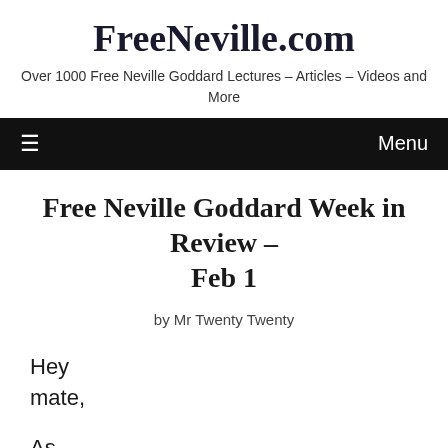FreeNeville.com
Over 1000 Free Neville Goddard Lectures – Articles – Videos and More
≡   Menu
Free Neville Goddard Week in Review – Feb 1
by Mr Twenty Twenty
Hey mate,
As